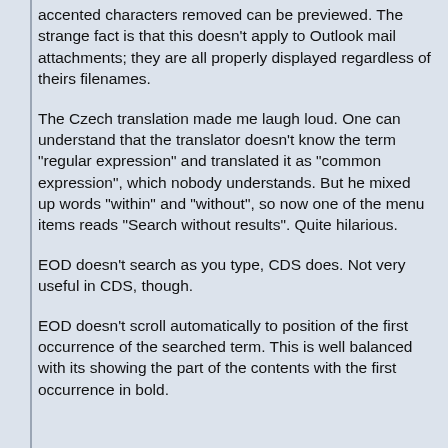accented characters removed can be previewed. The strange fact is that this doesn't apply to Outlook mail attachments; they are all properly displayed regardless of theirs filenames.
The Czech translation made me laugh loud. One can understand that the translator doesn't know the term "regular expression" and translated it as "common expression", which nobody understands. But he mixed up words "within" and "without", so now one of the menu items reads "Search without results". Quite hilarious.
EOD doesn't search as you type, CDS does. Not very useful in CDS, though.
EOD doesn't scroll automatically to position of the first occurrence of the searched term. This is well balanced with its showing the part of the contents with the first occurrence in bold.